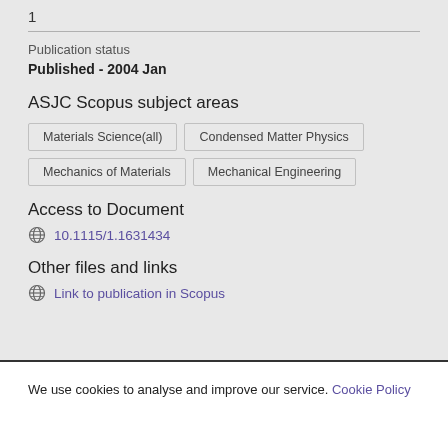1
Publication status
Published - 2004 Jan
ASJC Scopus subject areas
Materials Science(all)
Condensed Matter Physics
Mechanics of Materials
Mechanical Engineering
Access to Document
10.1115/1.1631434
Other files and links
Link to publication in Scopus
We use cookies to analyse and improve our service. Cookie Policy